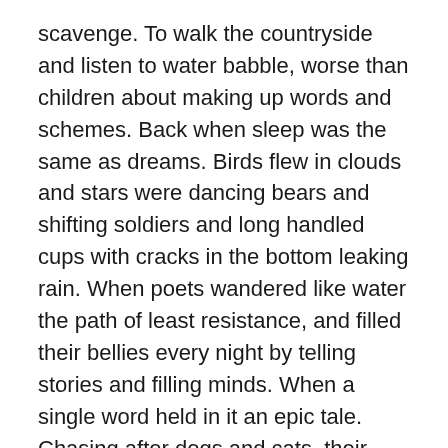scavenge. To walk the countryside and listen to water babble, worse than children about making up words and schemes. Back when sleep was the same as dreams. Birds flew in clouds and stars were dancing bears and shifting soldiers and long handled cups with cracks in the bottom leaking rain. When poets wandered like water the path of least resistance, and filled their bellies every night by telling stories and filling minds. When a single word held in it an epic tale. Chasing after dogs and cats, their epic tails. Recounting every noise of every tribe as they try to describe the exact same blade of auburn colored cattail headed grass. Talk about an epic tell. The boom off the tree that fell. The infinity of a field and how that feels when it has blistered your heel and decides to hold on to your foot print, and let everyone know the way you went.

I like to think how we didn't start telling stories until